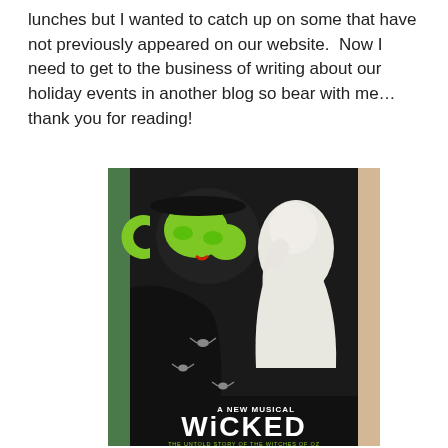lunches but I wanted to catch up on some that have not previously appeared on our website.  Now I need to get to the business of writing about our holiday events in another blog so bear with me…thank you for reading!
[Figure (photo): A framed Wicked musical poster showing the iconic image of Elphaba (green-faced witch) and Glinda (white-faced figure), with flying monkeys, and the title 'Wicked: A New Musical – The Untold Story of the Witches of Oz' at the bottom.]